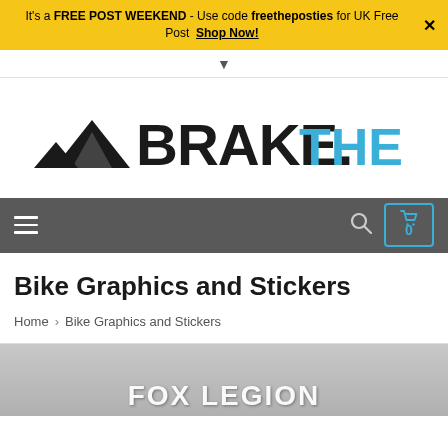It's a FREE POST WEEKEND - Use code freetheposties for UK Free Post  Shop Now!
[Figure (logo): Brake. The Shop logo with mountain graphic]
Navigation bar with hamburger menu, search icon, and cart icon showing 0
Bike Graphics and Stickers
Home > Bike Graphics and Stickers
[Figure (photo): Partial product image showing FOX LEGION text with outdoor/forest background]